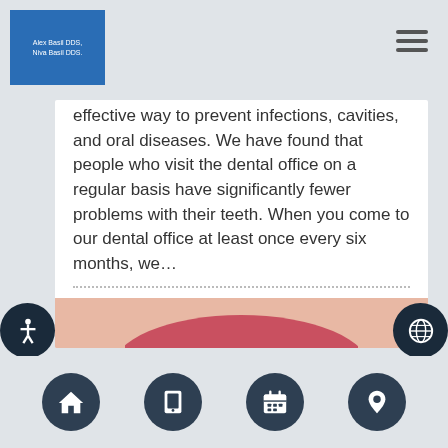Alex Basil DDS, Niva Basil DDS
effective way to prevent infections, cavities, and oral diseases. We have found that people who visit the dental office on a regular basis have significantly fewer problems with their teeth. When you come to our dental office at least once every six months, we…
[Figure (photo): Close-up photo of a person smiling with bright white teeth, holding a toothbrush with blue and white bristles at the bottom of the image]
Navigation bar with home, phone, calendar, and location icons